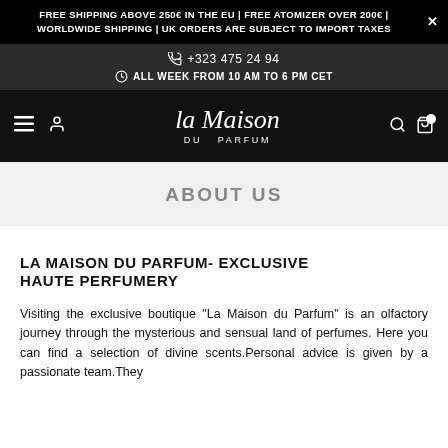FREE SHIPPING ABOVE 250€ IN THE EU | FREE ATOMIZER OVER 200€ | WORLDWIDE SHIPPING | UK ORDERS ARE SUBJECT TO IMPORT TAXES
+323 475 24 94
ALL WEEK FROM 10 AM TO 6 PM CET
[Figure (logo): La Maison du Parfum logo in script font with 'DU PARFUM' in small caps below]
ABOUT US
LA MAISON DU PARFUM- EXCLUSIVE HAUTE PERFUMERY
Visiting the exclusive boutique "La Maison du Parfum" is an olfactory journey through the mysterious and sensual land of perfumes. Here you can find a selection of divine scents.Personal advice is given by a passionate team.They